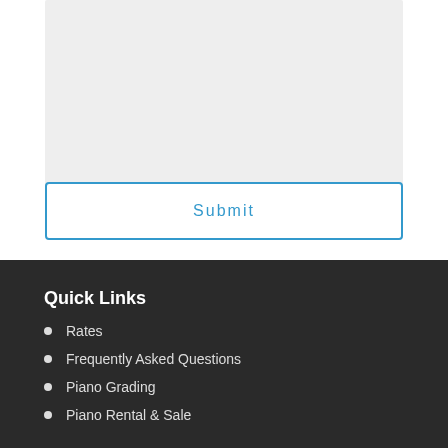[Figure (other): Gray rectangular input/text area placeholder box]
Submit
Quick Links
Rates
Frequently Asked Questions
Piano Grading
Piano Rental & Sale